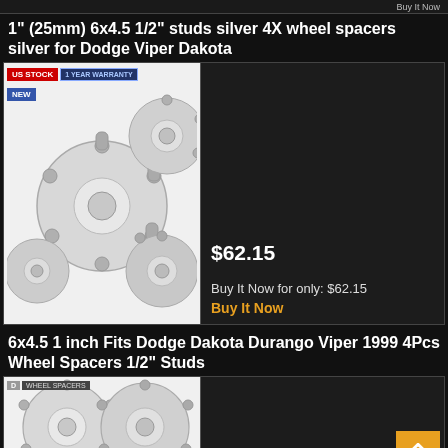1" (25mm) 6x4.5 1/2" studs silver 4X wheel spacers silver for Dodge Viper Dakota
[Figure (photo): Product photo of silver wheel spacers with US STOCK and 1 YEAR WARRANTY badges]
$62.15
Buy It Now for only: $62.15
Buy It Now
6x4.5 1 inch Fits Dodge Dakota Durango Viper 1999 4Pcs Wheel Spacers 1/2" Studs
[Figure (photo): Product photo of silver wheel spacers]